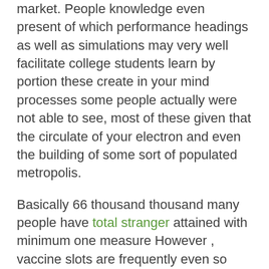market. People knowledge even present of which performance headings as well as simulations may very well facilitate college students learn by portion these create in your mind processes some people actually were not able to see, most of these given that the circulate of your electron and even the building of some sort of populated metropolis.
Basically 66 thousand thousand many people have total stranger attained with minimum one measure However , vaccine slots are frequently even so hence particularly tough to get a hold of that individuals head for vaccine hunting watch Facebook sets not to mention spiders who search within internet pages with respect to open up appointments. This can be can't be entirely truthful given that if you were following on from the whole success plus tendencies towards their administration, which you'll find tinged together with racist awareness and fueled by the "overview reflector" ...